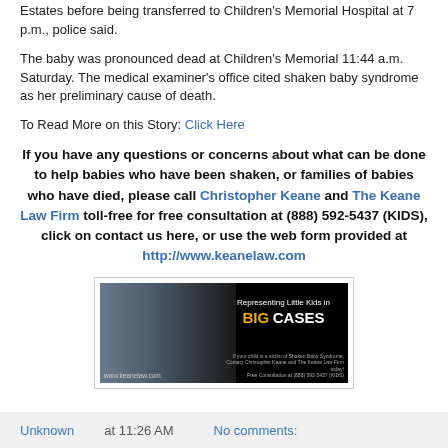Estates before being transferred to Children's Memorial Hospital at 7 p.m., police said.
The baby was pronounced dead at Children's Memorial 11:44 a.m. Saturday. The medical examiner's office cited shaken baby syndrome as her preliminary cause of death.
To Read More on this Story: Click Here
If you have any questions or concerns about what can be done to help babies who have been shaken, or families of babies who have died, please call Christopher Keane and The Keane Law Firm toll-free for free consultation at (888) 592-5437 (KIDS), click on contact us here, or use the web form provided at http://www.keanelaw.com
[Figure (photo): Advertisement for Keane Law Firm showing a child with text 'Representing Little Kids in BIG CASES' and website www.keanelaw.com]
Unknown at 11:26 AM    No comments: